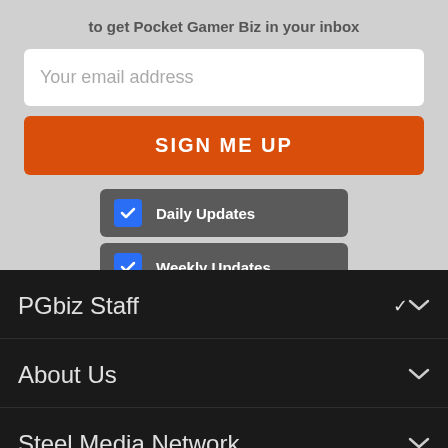to get Pocket Gamer Biz in your inbox
Your email address
SIGN ME UP
Daily Updates
Weekly Updates
Your sign up will be strictly used in accordance with our Terms of Use and Privacy Policy
PGbiz Staff
About Us
Steel Media Network